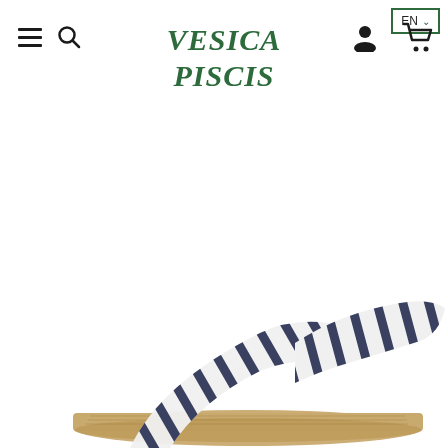[Figure (logo): Vesica Piscis brand logo in green stylized lettering]
[Figure (screenshot): Navigation bar with hamburger menu, search icon, language selector (EN), user account icon, and shopping cart icon]
[Figure (photo): Product photo of a striped (black and white vertical stripes) slide sandal with espadrille/jute sole, partially visible at the bottom of the page]